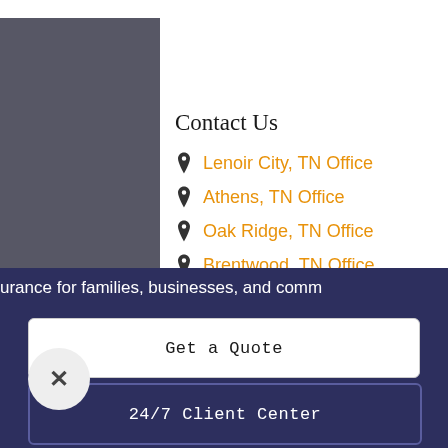Contact Us
Lenoir City, TN Office
Athens, TN Office
Oak Ridge, TN Office
Brentwood, TN Office
Follow Us on Social Media
urance for families, businesses, and comm
Get a Quote
24/7 Client Center